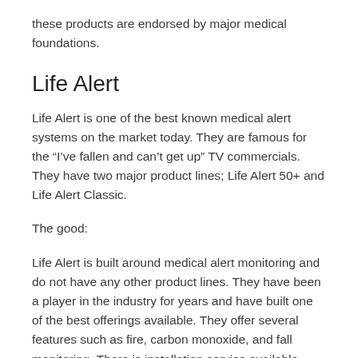these products are endorsed by major medical foundations.
Life Alert
Life Alert is one of the best known medical alert systems on the market today. They are famous for the "I've fallen and can't get up" TV commercials. They have two major product lines; Life Alert 50+ and Life Alert Classic.
The good:
Life Alert is built around medical alert monitoring and do not have any other product lines. They have been a player in the industry for years and have built one of the best offerings available. They offer several features such as fire, carbon monoxide, and fall monitoring. There is installation service available. They also offer a refund if